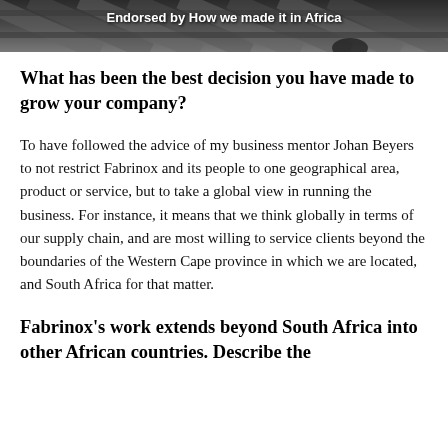[Figure (photo): Partial image with text overlay reading 'Endorsed by How we made it in Africa' over a dark background with diagonal patterns resembling rails or tracks.]
What has been the best decision you have made to grow your company?
To have followed the advice of my business mentor Johan Beyers to not restrict Fabrinox and its people to one geographical area, product or service, but to take a global view in running the business. For instance, it means that we think globally in terms of our supply chain, and are most willing to service clients beyond the boundaries of the Western Cape province in which we are located, and South Africa for that matter.
Fabrinox's work extends beyond South Africa into other African countries. Describe the